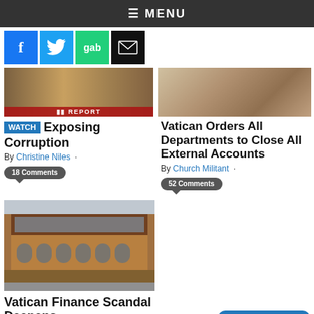≡ MENU
[Figure (screenshot): Social media icons: Facebook, Twitter, Gab, Email]
[Figure (photo): Thumbnail image with M REPORT overlay - left article]
[Figure (photo): Thumbnail image - right article]
WATCH Exposing Corruption
By Christine Niles · 18 Comments
Vatican Orders All Departments to Close All External Accounts
By Church Militant · 52 Comments
[Figure (photo): Large photo of a brick and glass building - Vatican Finance Scandal article]
Vatican Finance Scandal Deepens
By David Nussman · 18 Comments
[Figure (other): Donate button]